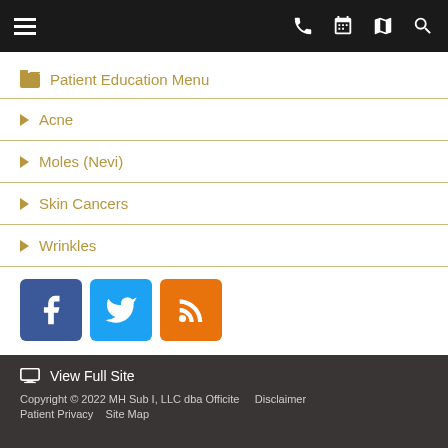Patient Education Menu navigation bar with hamburger menu, phone, calendar, map, and search icons
Patient Education Menu
Acne
Moles (Nevi)
Skin Cancers
Wrinkles
[Figure (infographic): Social media icons: Facebook (blue), Twitter (light blue), RSS (orange)]
View Full Site
Copyright © 2022 MH Sub I, LLC dba Officite   Disclaimer
Patient Privacy   Site Map